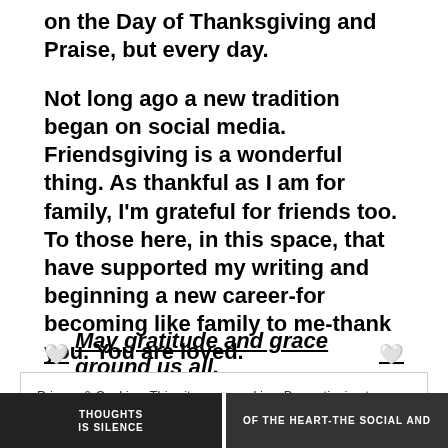on the Day of Thanksgiving and Praise, but every day.
Not long ago a new tradition began on social media. Friendsgiving is a wonderful thing. As thankful as I am for family, I'm grateful for friends too. To those here, in this space, that have supported my writing and beginning a new career-for becoming like family to me-thank you. You are loved.
🤍 May gratitude and grace ground us all. 🤍
Privacy & Cookies: This site uses cookies. By continuing to use this website, you agree to their use. To find out more, including how to control cookies, see here: Cookie Policy
Close and accept
[Figure (photo): Bottom left thumbnail image with text THOUGHTS IS SILENCE on dark background]
[Figure (photo): Bottom right thumbnail image with text OF THE HEART-THE SOCIAL AND on dark background]